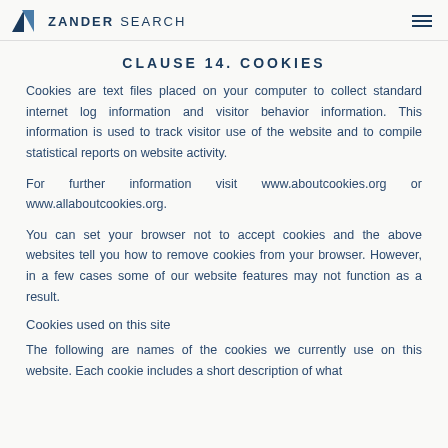ZANDER SEARCH
CLAUSE 14. COOKIES
Cookies are text files placed on your computer to collect standard internet log information and visitor behavior information. This information is used to track visitor use of the website and to compile statistical reports on website activity.
For further information visit www.aboutcookies.org or www.allaboutcookies.org.
You can set your browser not to accept cookies and the above websites tell you how to remove cookies from your browser. However, in a few cases some of our website features may not function as a result.
Cookies used on this site
The following are names of the cookies we currently use on this website. Each cookie includes a short description of what